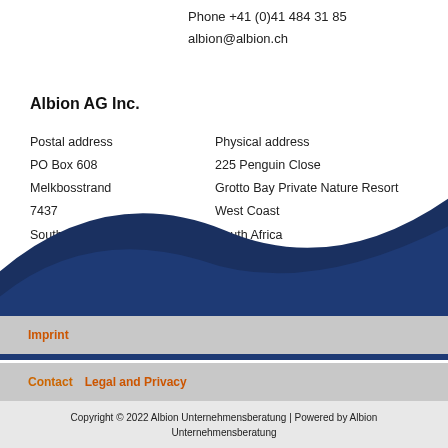Phone +41 (0)41 484 31 85
albion@albion.ch
Albion AG Inc.
Postal address
PO Box 608
Melkbosstrand
7437
South Africa
Physical address
225 Penguin Close
Grotto Bay Private Nature Resort
West Coast
South Africa
Phone +27 (0)22 492 2001
info@albion-inc.co.za
[Figure (illustration): Dark navy blue decorative wave/arc shape at bottom of page]
Imprint   Contact   Legal and Privacy
Copyright © 2022 Albion Unternehmensberatung | Powered by Albion Unternehmensberatung